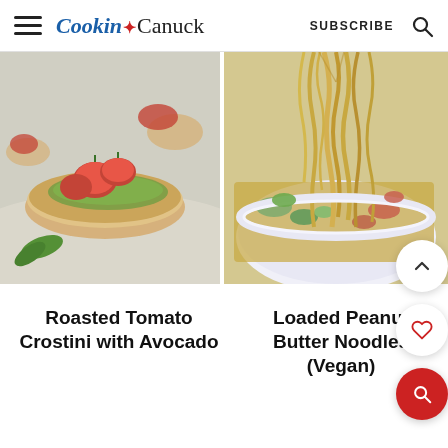Cookin' Canuck  SUBSCRIBE
[Figure (photo): Roasted tomato crostini with avocado spread on toasted bread slices, with fresh basil leaves, on a light background]
[Figure (photo): Loaded peanut butter noodles (vegan) – noodles being lifted from a white bowl filled with vegetables including edamame, carrots, and zucchini]
Roasted Tomato Crostini with Avocado
Loaded Peanut Butter Noodles (Vegan)